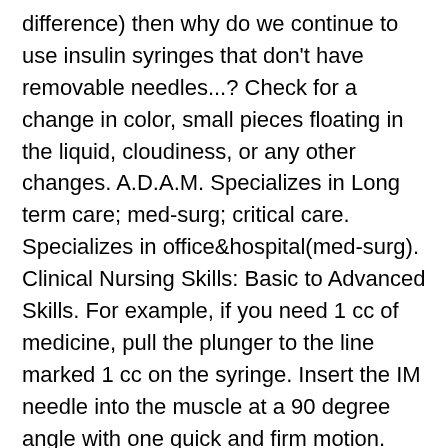difference) then why do we continue to use insulin syringes that don't have removable needles...? Check for a change in color, small pieces floating in the liquid, cloudiness, or any other changes. A.D.A.M. Specializes in Long term care; med-surg; critical care. Specializes in office&hospital(med-surg). Clinical Nursing Skills: Basic to Advanced Skills. For example, if you need 1 cc of medicine, pull the plunger to the line marked 1 cc on the syringe. Insert the IM needle into the muscle at a 90 degree angle with one quick and firm motion. They are Set the ampoule on a flat surface. Hold the syringe in your hand like a pencil, with the needle pointed up. 's editorial policy editorial process and privacy policy. A hypodermic needle